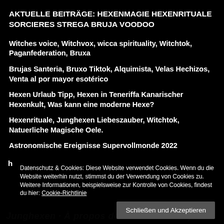AKTUELLE BEITRÄGE: HEXENMAGIE HEXENRITUALE SORCIERES STREGA BRUJA VOODOO
Witches voice, Witchvox, wicca spirituality, Witchtok, Paganfederation, Bruxa
Brujas Santeria, Bruxo Tiktok, Alquimista, Velas Hechizos, Venta al por mayor esotérico
Hexen Urlaub Tipp, Hexen in Teneriffa Kanarischer Hexenkult, Was kann eine moderne Hexe?
Hexenrituale, Junghexen Liebeszauber, Witchtok, Natuerliche Magische Oele.
Astronomische Ereignisse Supervollmonde 2022
Datenschutz & Cookies: Diese Website verwendet Cookies. Wenn du die Website weiterhin nutzt, stimmst du der Verwendung von Cookies zu. Weitere Informationen, beispielsweise zur Kontrolle von Cookies, findest du hier: Cookie-Richtlinie
Schließen und Akzeptieren
Junghexen · À propos des sorcieres Brujas